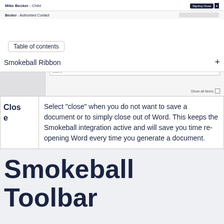[Figure (screenshot): Screenshot of a document management UI showing a row with 'Mike Becker - Child' and a 'Signing Close' dropdown button, and a partial second row with 'Becker - Authorised Contact']
Table of contents
Smokeball Ribbon
[Figure (screenshot): Screenshot showing a search/filter UI with a text field and 'Show all items' checkbox]
| Clos e |  |
| --- | --- |
| Clos e | Select "close" when you do not want to save a document or to simply close out of Word. This keeps the Smokeball integration active and will save you time re-opening Word every time you generate a document. |
Smokeball Toolbar